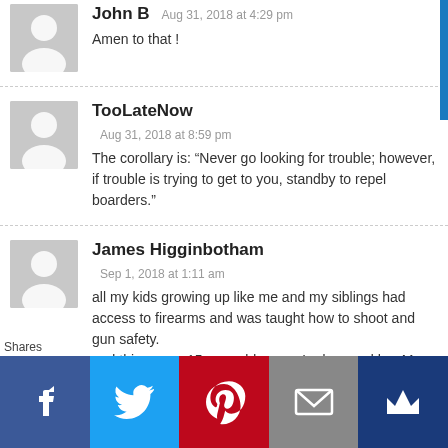John B Aug 31, 2018 at 4:29 pm
Amen to that !
TooLateNow
Aug 31, 2018 at 8:59 pm
The corollary is: “Never go looking for trouble; however, if trouble is trying to get to you, standby to repel boarders.”
James Higginbotham
Sep 1, 2018 at 1:11 am
all my kids growing up like me and my siblings had access to firearms and was taught how to shoot and gun safety.
and this young 15 year old young Lady saved her Mom
Shares